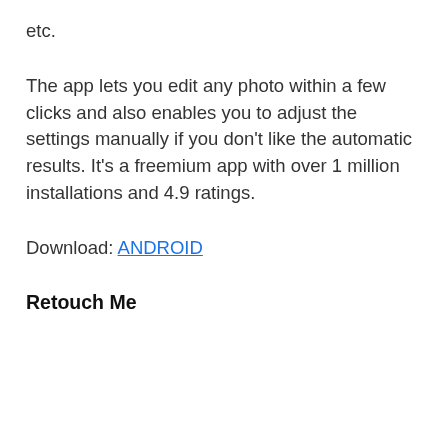etc.
The app lets you edit any photo within a few clicks and also enables you to adjust the settings manually if you don't like the automatic results. It's a freemium app with over 1 million installations and 4.9 ratings.
Download: ANDROID
Retouch Me